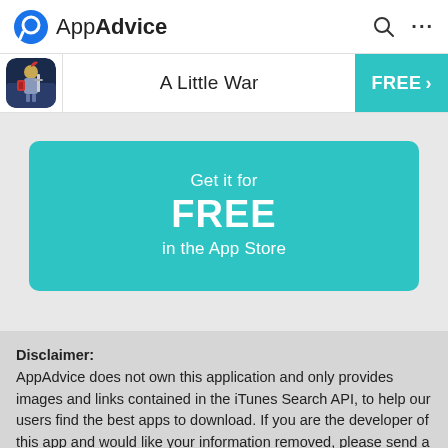AppAdvice
A Little War
[Figure (infographic): Teal button/banner reading 'Get it for FREE in the App Store']
Disclaimer: AppAdvice does not own this application and only provides images and links contained in the iTunes Search API, to help our users find the best apps to download. If you are the developer of this app and would like your information removed, please send a request to takedown@appadvice.com and your information will be removed.